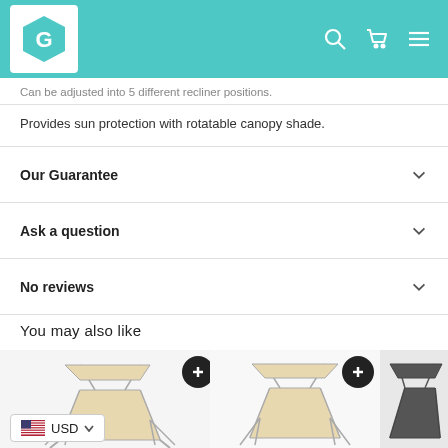G [logo] [search icon] [cart icon] [menu icon]
Can be adjusted into 5 different recliner positions.
Provides sun protection with rotatable canopy shade.
Our Guarantee
Ask a question
No reviews
You may also like
[Figure (photo): Beach lounge chair with canopy shade, beige/tan color, aluminum frame]
[Figure (photo): Beach lounge chair with canopy shade, beige/tan color, aluminum frame, slightly different angle]
[Figure (photo): Beach lounge chair with canopy shade, dark/black color, partially visible]